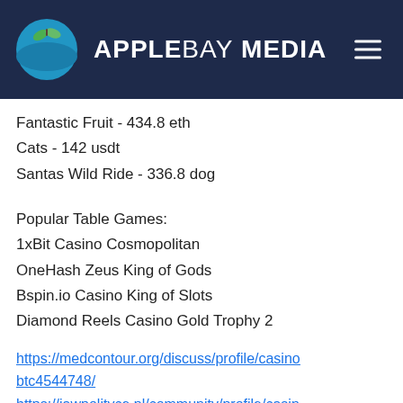APPLEBAY MEDIA
Fantastic Fruit - 434.8 eth
Cats - 142 usdt
Santas Wild Ride - 336.8 dog
Popular Table Games:
1xBit Casino Cosmopolitan
OneHash Zeus King of Gods
Bspin.io Casino King of Slots
Diamond Reels Casino Gold Trophy 2
https://medcontour.org/discuss/profile/casinobtc4544748/
https://jawpolityce.pl/community/profile/casinobtc13551793/
https://tintrihub.com/community/profile/casinobtc1873630/
https://www.hyggelandhk.com/profile/sherwo